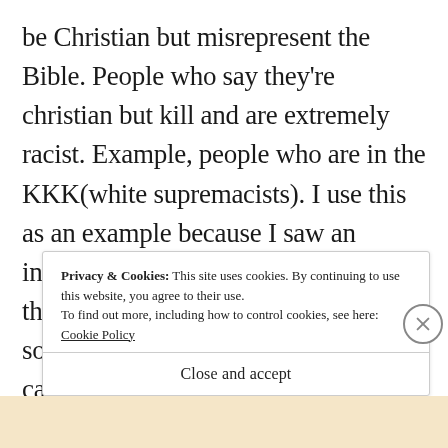be Christian but misrepresent the Bible. People who say they're christian but kill and are extremely racist. Example, people who are in the KKK(white supremacists). I use this as an example because I saw an interview of one of their members and they talked about the bible and I was so pissed. I was appalled that people can really twist the word of God and try to justify blatant racism. Obviously they have a twisted, evil version of who God is and they
Privacy & Cookies: This site uses cookies. By continuing to use this website, you agree to their use.
To find out more, including how to control cookies, see here: Cookie Policy
Close and accept